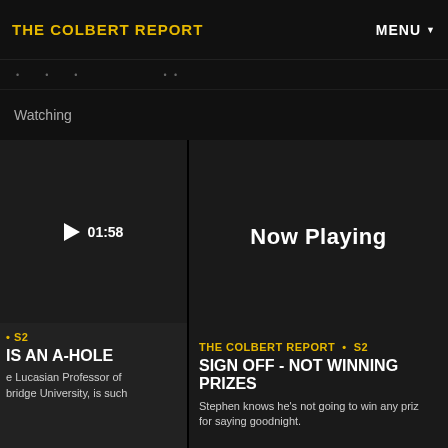THE COLBERT REPORT
MENU
Watching
[Figure (screenshot): Video thumbnail for left card — dark rectangle with play button and time 01:58]
• S2
IS AN A-HOLE
e Lucasian Professor of bridge University, is such
[Figure (screenshot): Video thumbnail for right card — dark rectangle showing 'Now Playing' text]
THE COLBERT REPORT • S2
SIGN OFF - NOT WINNING PRIZES
Stephen knows he's not going to win any priz for saying goodnight.